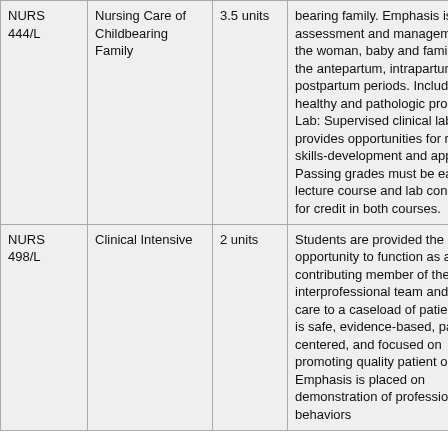| Course | Title | Units | Description |
| --- | --- | --- | --- |
| NURS 444/L | Nursing Care of Childbearing Family | 3.5 units | bearing family. Emphasis is on assessment and management of the woman, baby and family during the antepartum, intrapartum and postpartum periods. Includes both healthy and pathologic processes. Lab: Supervised clinical lab provides opportunities for role- and skills-development and application. Passing grades must be earned in lecture course and lab concurrently for credit in both courses. |
| NURS 498/L | Clinical Intensive | 2 units | Students are provided the opportunity to function as a contributing member of the interprofessional team and provide care to a caseload of patients that is safe, evidence-based, patient-centered, and focused on promoting quality patient outcomes. Emphasis is placed on demonstration of professional behaviors |